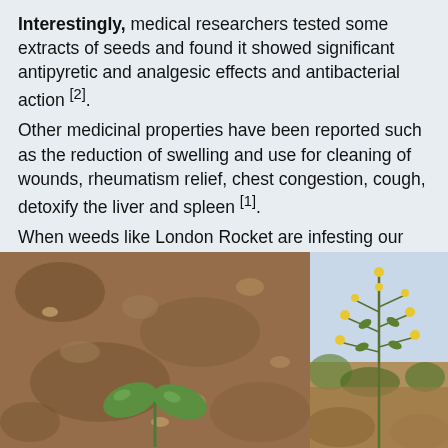Interestingly, medical researchers tested some extracts of seeds and found it showed significant antipyretic and analgesic effects and antibacterial action [2]. Other medicinal properties have been reported such as the reduction of swelling and use for cleaning of wounds, rheumatism relief, chest congestion, cough, detoxify the liver and spleen [1]. When weeds like London Rocket are infesting our lettuce or alfalfa fields, they can be such a nuisance. But it's possible that in other parts of the world people are looking for them as beneficial herbs.
[Figure (photo): Close-up photo of a small green seedling with two rounded leaves emerging from dry, sandy-brown soil.]
[Figure (photo): A tall, slender plant with small yellow flowers growing in a field, with sandy soil and some green shrubs visible in the background.]